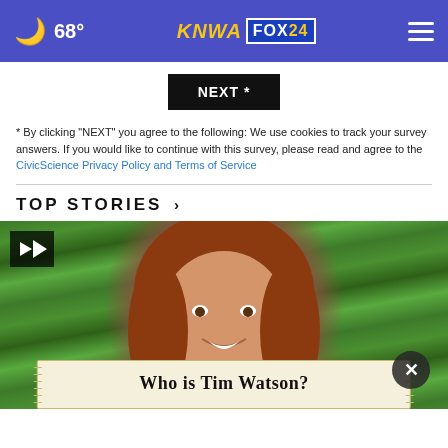68° KNWA FOX24
[Figure (screenshot): NEXT * button — black rectangle button with white bold text]
* By clicking "NEXT" you agree to the following: We use cookies to track your survey answers. If you would like to continue with this survey, please read and agree to the CivicScience Privacy Policy and Terms of Service
TOP STORIES ›
[Figure (photo): Video thumbnail of a woman with long red hair smiling, standing outdoors in front of green foliage. Play button overlay in top-left. Close (X) button overlay. Advertisement overlay reading 'Who is Tim Watson?']
Who is Tim Watson?